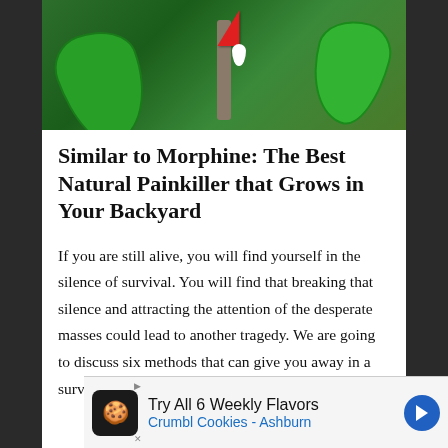[Figure (photo): Close-up photo of a plant stem with a red arrow pointing to a white milky sap drop, surrounded by green leaves]
Similar to Morphine: The Best Natural Painkiller that Grows in Your Backyard
If you are still alive, you will find yourself in the silence of survival. You will find that breaking that silence and attracting the attention of the desperate masses could lead to another tragedy. We are going to discuss six methods that can give you away in a survival situation and how to mitigate them.
[Figure (screenshot): Advertisement banner: Try All 6 Weekly Flavors - Crumbl Cookies - Ashburn]